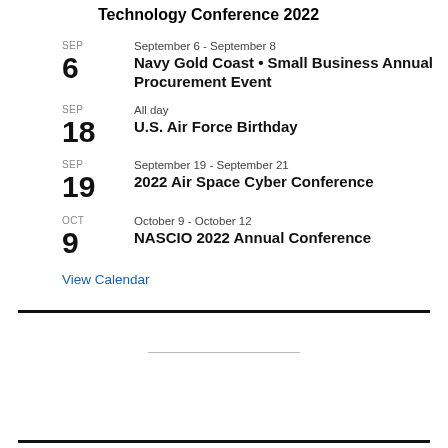Technology Conference 2022
SEP 6 | September 6 - September 8 | Navy Gold Coast • Small Business Annual Procurement Event
SEP 18 | All day | U.S. Air Force Birthday
SEP 19 | September 19 - September 21 | 2022 Air Space Cyber Conference
OCT 9 | October 9 - October 12 | NASCIO 2022 Annual Conference
View Calendar